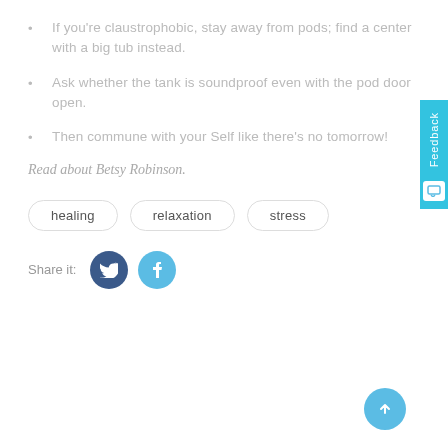If you're claustrophobic, stay away from pods; find a center with a big tub instead.
Ask whether the tank is soundproof even with the pod door open.
Then commune with your Self like there's no tomorrow!
Read about Betsy Robinson.
healing   relaxation   stress
Share it: